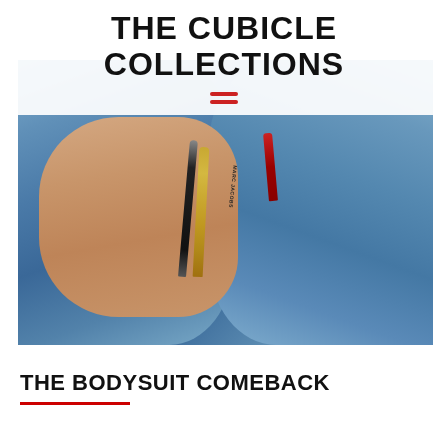THE CUBICLE COLLECTIONS
[Figure (photo): Close-up photo of a person wearing blue denim jeans, holding Marc Jacobs makeup pencils/lipstick in their hand near a denim pocket]
THE BODYSUIT COMEBACK